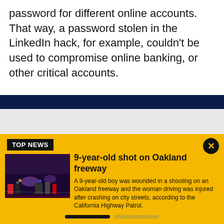password for different online accounts. That way, a password stolen in the LinkedIn hack, for example, couldn't be used to compromise online banking, or other critical accounts.
BREAKING NEWS
TOP NEWS
9-year-old shot on Oakland freeway
A 9-year-old boy was wounded in a shooting on an Oakland freeway and the woman driving was injured after crashing on city streets, according to the California Highway Patrol.